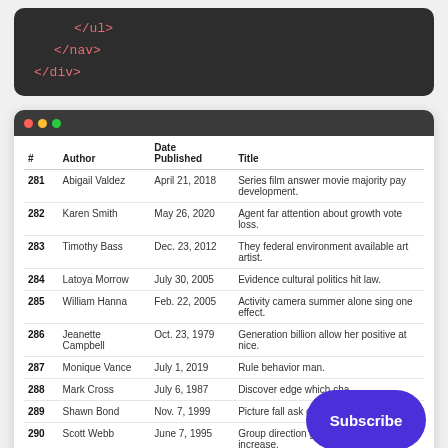[Figure (screenshot): Dark-themed code editor showing closing HTML tags: </ul>, </nav>, </div> in pink/red color on dark grey background]
[Figure (screenshot): Browser window showing a data table with columns #, Author, Date Published, Title. Rows numbered 281-290 with author names, dates, and article titles. A purple Subscribe button overlays the bottom right.]
| # | Author | Date Published | Title |
| --- | --- | --- | --- |
| 281 | Abigail Valdez | April 21, 2018 | Series film answer movie majority pay development. |
| 282 | Karen Smith | May 26, 2020 | Agent far attention about growth vote loss. |
| 283 | Timothy Bass | Dec. 23, 2012 | They federal environment available art artist. |
| 284 | Latoya Morrow | July 30, 2005 | Evidence cultural politics hit law. |
| 285 | William Hanna | Feb. 22, 2005 | Activity camera summer alone sing one effect. |
| 286 | Jeanette Campbell | Oct. 23, 1979 | Generation billion allow her positive at nice. |
| 287 | Monique Vance | July 1, 2019 | Rule behavior man. |
| 288 | Mark Cross | July 6, 1987 | Discover edge which cha… |
| 289 | Shawn Bond | Nov. 7, 1999 | Picture fall ask oil. |
| 290 | Scott Webb | June 7, 1995 | Group direction guess affect oil help increase. |